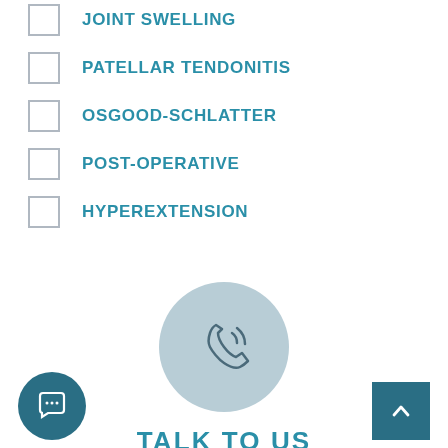JOINT SWELLING
PATELLAR TENDONITIS
OSGOOD-SCHLATTER
POST-OPERATIVE
HYPEREXTENSION
[Figure (illustration): Light blue circle with a phone/call icon in grey outline style]
TALK TO US